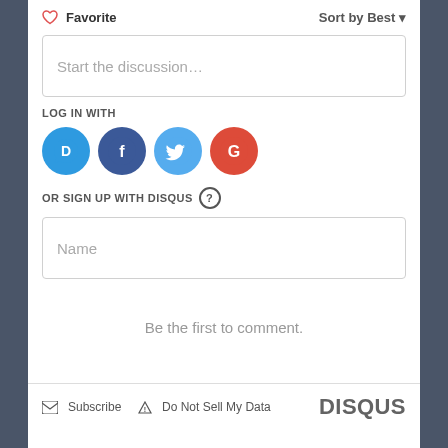♡ Favorite
Sort by Best ▾
Start the discussion…
LOG IN WITH
[Figure (logo): Four social login icons: Disqus (blue speech bubble with D), Facebook (dark blue circle with f), Twitter (light blue circle with bird), Google (red circle with G)]
OR SIGN UP WITH DISQUS ?
Name
Be the first to comment.
✉ Subscribe  ▲ Do Not Sell My Data
DISQUS